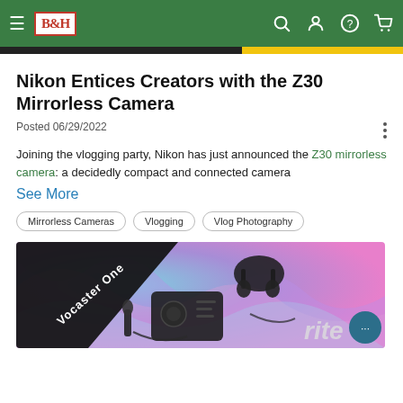B&H navigation bar with hamburger menu, B&H logo, search, account, help, and cart icons
Nikon Entices Creators with the Z30 Mirrorless Camera
Posted 06/29/2022
Joining the vlogging party, Nikon has just announced the Z30 mirrorless camera: a decidedly compact and connected camera
See More
Mirrorless Cameras
Vlogging
Vlog Photography
[Figure (photo): Product image showing Vocaster One audio interface bundle with headphones, cables, and microphone on a colorful swirled background, with Focusrite branding visible]